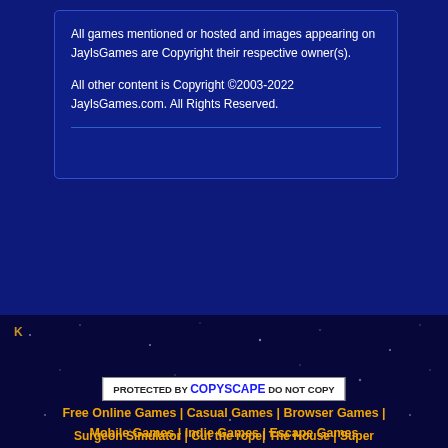All games mentioned or hosted and images appearing on JayIsGames are Copyright their respective owner(s).
All other content is Copyright ©2003-2022 JayIsGames.com. All Rights Reserved.
K
[Figure (screenshot): PROTECTED BY COPYSCAPE DO NOT COPY badge]
Free Online Games | Casual Games | Browser Games | Mobile Games | Indie Games | Escape Games
Surgeon Simulator | Cut the rope| The House | Super Hexagon | The Binding of Isaac | Pony creator | Dojo of Death